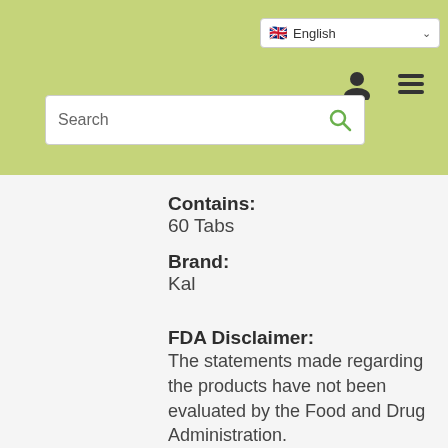English
Contains: 60 Tabs
Brand: Kal
FDA Disclaimer: The statements made regarding the products have not been evaluated by the Food and Drug Administration.
Price Disclaimer: We do our best to provide accurate product and pricing information. However, pricing or typographical